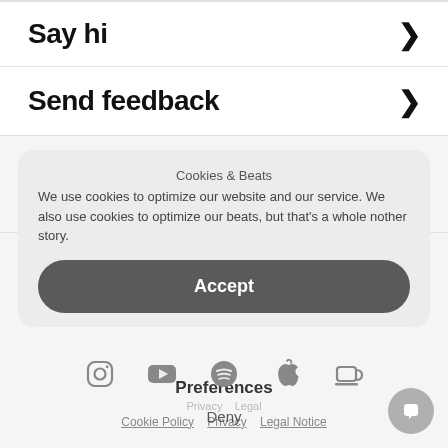Say hi >
Send feedback >
Cookies & Beats
Report a copyright claim >
We use cookies to optimize our website and our service. We also use cookies to optimize our beats, but that's a whole nother story.
Accept
Deny
Preferences
Privacy   Legal
Cookie Policy   Privacy   Legal Notice